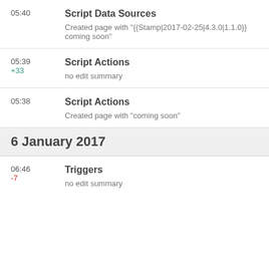05:40
Script Data Sources
Created page with "{{Stamp|2017-02-25|4.3.0|1.1.0}} coming soon"
05:39
+33
Script Actions
no edit summary
05:38
Script Actions
Created page with "coming soon"
6 January 2017
06:46
-7
Triggers
no edit summary